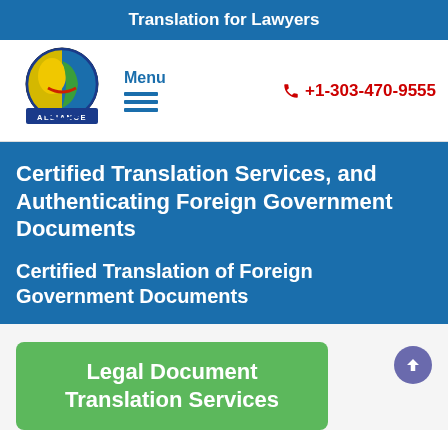Translation for Lawyers
[Figure (logo): All Language Alliance circular logo with multilingual face motifs and blue banner saying ALLIANCE]
Menu
+1-303-470-9555
Certified Translation Services, and Authenticating Foreign Government Documents
Certified Translation of Foreign Government Documents
Legal Document Translation Services